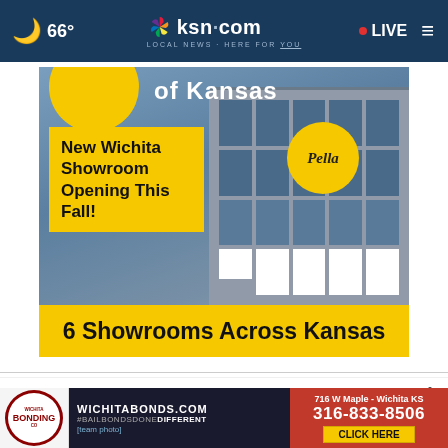66° ksn.com LOCAL NEWS · HERE FOR YOU LIVE
[Figure (photo): Pella Windows advertisement showing a modern commercial building with a yellow Pella logo circle, text 'New Wichita Showroom Opening This Fall!' on yellow box, 'of Kansas' text at top, and '6 Showrooms Across Kansas' in yellow banner at bottom]
WHAT DO YOU THINK?
Do you think it is likely that former President Trump will eventually face federal charges related to his mishandling classified documents following the end of his term?
[Figure (photo): Wichita Bonding Co advertisement banner at bottom showing logo, WICHITABONDS.COM, team photo, address 716 W Maple - Wichita KS, phone 316-833-8506, CLICK HERE button]